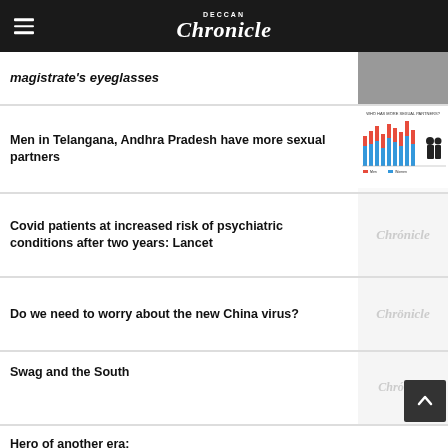Deccan Chronicle
magistrate's eyeglasses
Men in Telangana, Andhra Pradesh have more sexual partners
Covid patients at increased risk of psychiatric conditions after two years: Lancet
Do we need to worry about the new China virus?
Swag and the South
Hero of another era: